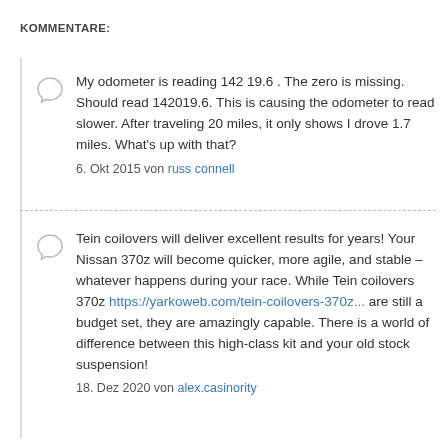KOMMENTARE:
My odometer is reading 142 19.6 . The zero is missing. Should read 142019.6. This is causing the odometer to read slower. After traveling 20 miles, it only shows I drove 1.7 miles. What's up with that?
6. Okt 2015 von russ connell
Tein coilovers will deliver excellent results for years! Your Nissan 370z will become quicker, more agile, and stable – whatever happens during your race. While Tein coilovers 370z https://yarkoweb.com/tein-coilovers-370z... are still a budget set, they are amazingly capable. There is a world of difference between this high-class kit and your old stock suspension!
18. Dez 2020 von alex.casinority